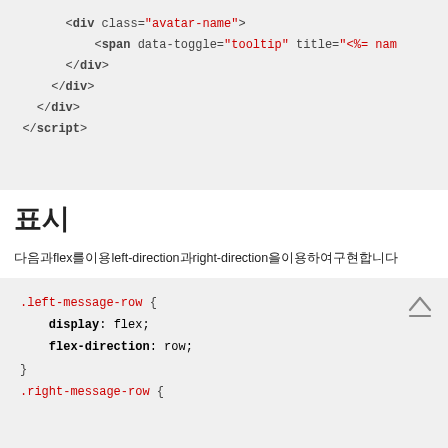[Figure (screenshot): Code block showing HTML snippet with div class avatar-name, span with data-toggle tooltip, closing div tags, and closing script tag]
표시
다음과flex를이용left-direction과right-direction을이용하여구현합니다
[Figure (screenshot): CSS code block showing .left-message-row with display: flex and flex-direction: row, and beginning of .right-message-row rule]